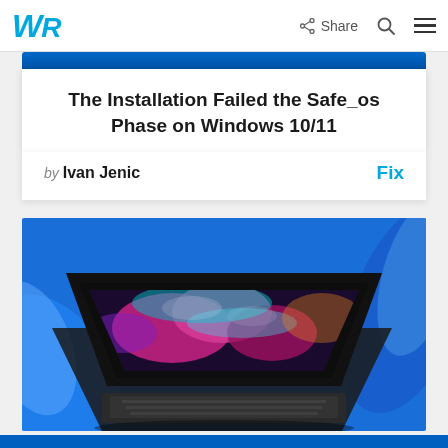WR | Share
The Installation Failed the Safe_os Phase on Windows 10/11
by Ivan Jenic  Fix
[Figure (photo): A laptop with a colorful abstract wallpaper displayed on its screen, set against a blue Windows 11 background with swirling blue shapes.]